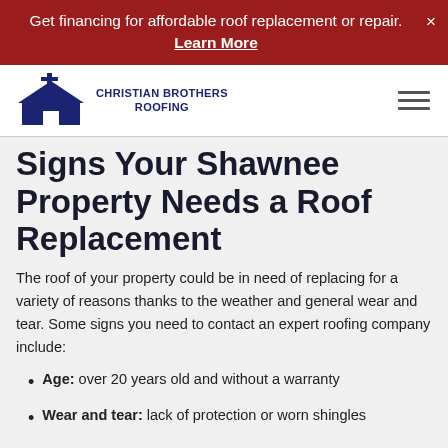Get financing for affordable roof replacement or repair. Learn More
[Figure (logo): Christian Brothers Roofing logo — dark navy house/roof shape with cross, company name below]
Signs Your Shawnee Property Needs a Roof Replacement
The roof of your property could be in need of replacing for a variety of reasons thanks to the weather and general wear and tear. Some signs you need to contact an expert roofing company include:
Age: over 20 years old and without a warranty
Wear and tear: lack of protection or worn shingles